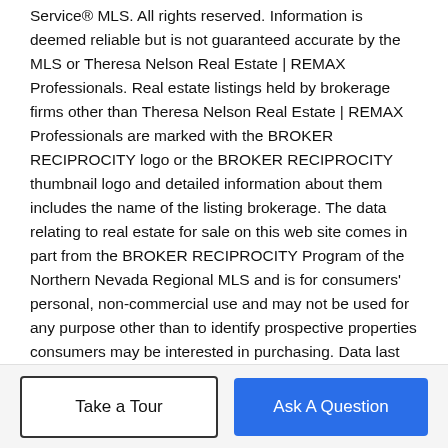Service® MLS. All rights reserved. Information is deemed reliable but is not guaranteed accurate by the MLS or Theresa Nelson Real Estate | REMAX Professionals. Real estate listings held by brokerage firms other than Theresa Nelson Real Estate | REMAX Professionals are marked with the BROKER RECIPROCITY logo or the BROKER RECIPROCITY thumbnail logo and detailed information about them includes the name of the listing brokerage. The data relating to real estate for sale on this web site comes in part from the BROKER RECIPROCITY Program of the Northern Nevada Regional MLS and is for consumers' personal, non-commercial use and may not be used for any purpose other than to identify prospective properties consumers may be interested in purchasing. Data last updated: 2022-08-30T16:19:48.943.
BoomTown! © 2022 | Terms of Use | Privacy Policy | Accessibility | DMCA | Listings Sitemap